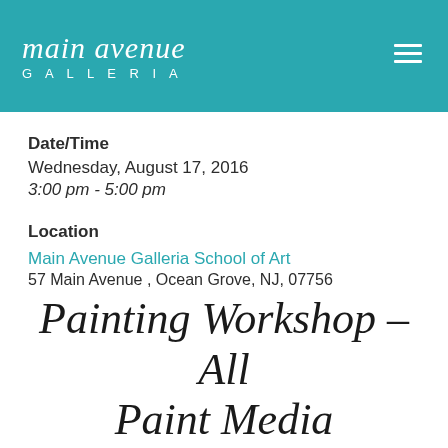main avenue GALLERIA
Date/Time
Wednesday, August 17, 2016
3:00 pm - 5:00 pm
Location
Main Avenue Galleria School of Art
57 Main Avenue , Ocean Grove, NJ, 07756
Painting Workshop – All Paint Media